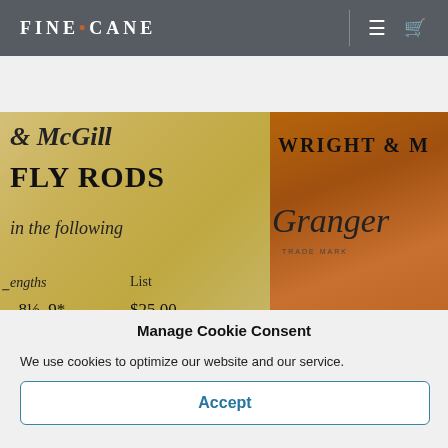FINE•CANE
[Figure (photo): Two panels of old fly fishing catalog pages: left panel shows yellowed paper with text '& McGill FLY RODS in the following Lengths List 8½, 9* $25.00 8½, 9 $30.00'; right panel shows brown paper/leather with text 'WRIGHT & M' and 'Granger TRADE MARK' cursive logo. FINE•CANE watermark visible.]
Manage Cookie Consent
We use cookies to optimize our website and our service.
Accept